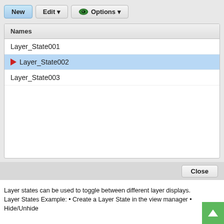[Figure (screenshot): A Layer States Manager dialog box showing a toolbar with New, Edit, and Options buttons, a list panel with columns (Names) containing Layer_State001, Layer_State002 (selected, with red arrow), and Layer_State003, and a Close button at the bottom.]
Layer states can be used to toggle between different layer displays. Layer States Example: • Create a Layer State in the view manager • Hide/Unhide